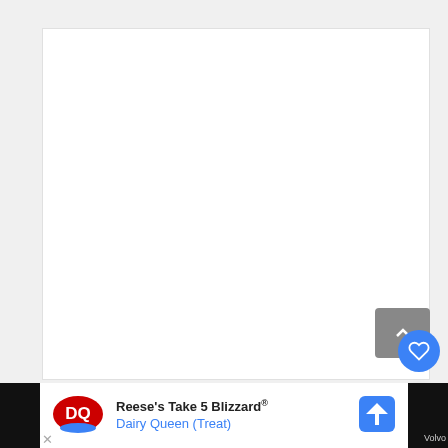[Figure (screenshot): A webpage screenshot showing a mostly blank white content area with browser UI elements. On the right side there are UI buttons: a grey back-to-top button with an up-chevron, a blue circular heart/favorite button, and a white circular share button. At the bottom is a Dairy Queen advertisement bar showing 'Reese's Take 5 Blizzard® Dairy Queen (Treat)' with the DQ logo and a blue navigation arrow icon.]